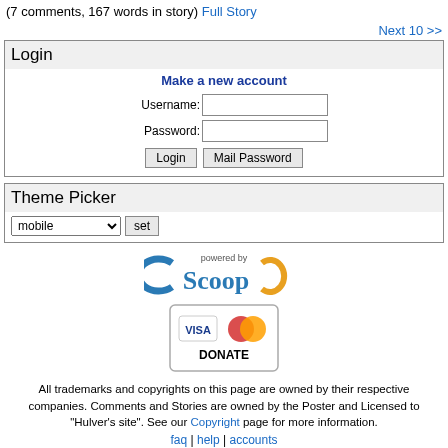(7 comments, 167 words in story) Full Story
Next 10 >>
Login
Make a new account
Theme Picker
[Figure (logo): Powered by Scoop logo with stylized text]
[Figure (logo): Donate button with VISA and MasterCard logos]
All trademarks and copyrights on this page are owned by their respective companies. Comments and Stories are owned by the Poster and Licensed to "Hulver's site". See our Copyright page for more information.
faq | help | accounts